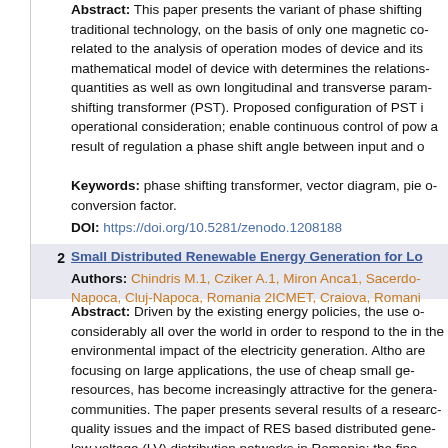Abstract: This paper presents the variant of phase shifting traditional technology, on the basis of only one magnetic core related to the analysis of operation modes of device and its mathematical model of device with determines the relations quantities as well as own longitudinal and transverse parameters of phase shifting transformer (PST). Proposed configuration of PST operational consideration; enable continuous control of power as a result of regulation a phase shift angle between input and output.
Keywords: phase shifting transformer, vector diagram, pie conversion factor.
DOI: https://doi.org/10.5281/zenodo.1208188
2 Small Distributed Renewable Energy Generation for Lo...
Authors: Chindris M.1, Cziker A.1, Miron Anca1, Sacerdot... Napoca, Cluj-Napoca, Romania 2ICMET, Craiova, Romania
Abstract: Driven by the existing energy policies, the use of considerably all over the world in order to respond to the the environmental impact of the electricity generation. Altho are focusing on large applications, the use of cheap small generators resources, has become increasingly attractive for the general communities. The paper presents several results of a research quality issues and the impact of RES based distributed gene low voltage (LV) distribution networks in Romania; the final Quality Conditioner (UPQC) able to diminish the existing the existing DG technologies and identifies possible solutions into account the existent state of the art, the attention was on energy, and on possibility to integrate them into suburban presence of DG units at distribution voltage level means distribution networks. In general, the relatively low voltage